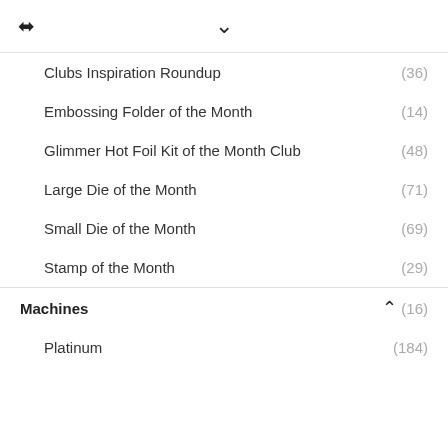< (share icon)   ∨ (chevron down)
Clubs Inspiration Roundup (36)
Embossing Folder of the Month (14)
Glimmer Hot Foil Kit of the Month Club (48)
Large Die of the Month (71)
Small Die of the Month (69)
Stamp of the Month (29)
Machines (16)
Platinum (184)